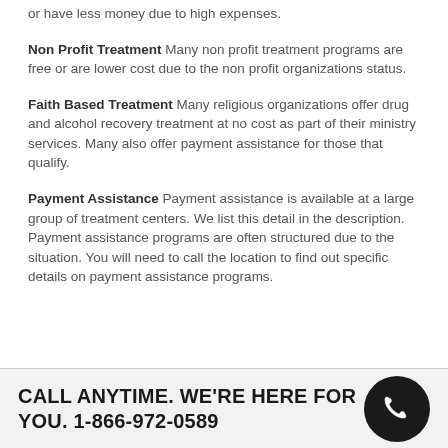or have less money due to high expenses.
Non Profit Treatment Many non profit treatment programs are free or are lower cost due to the non profit organizations status.
Faith Based Treatment Many religious organizations offer drug and alcohol recovery treatment at no cost as part of their ministry services. Many also offer payment assistance for those that qualify.
Payment Assistance Payment assistance is available at a large group of treatment centers. We list this detail in the description. Payment assistance programs are often structured due to the situation. You will need to call the location to find out specific details on payment assistance programs.
CALL ANYTIME. WE'RE HERE FOR YOU. 1-866-972-0589